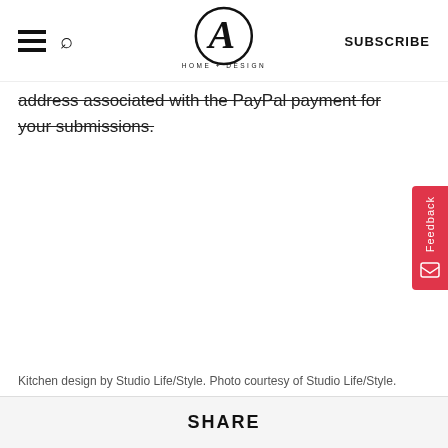CA HOME + DESIGN | SUBSCRIBE
address associated with the PayPal payment for your submissions.
Kitchen design by Studio Life/Style. Photo courtesy of Studio Life/Style.
SHARE